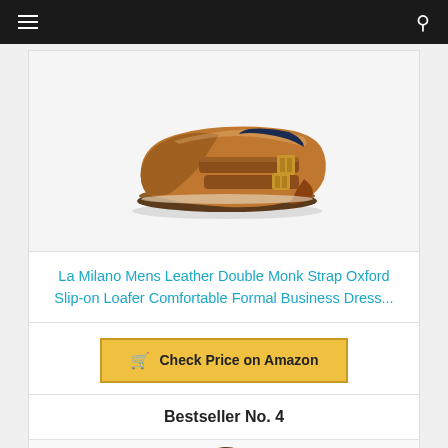[Figure (photo): Brown leather double monk strap Oxford dress shoe on white background]
La Milano Mens Leather Double Monk Strap Oxford Slip-on Loafer Comfortable Formal Business Dress...
Check Price on Amazon
Bestseller No. 4